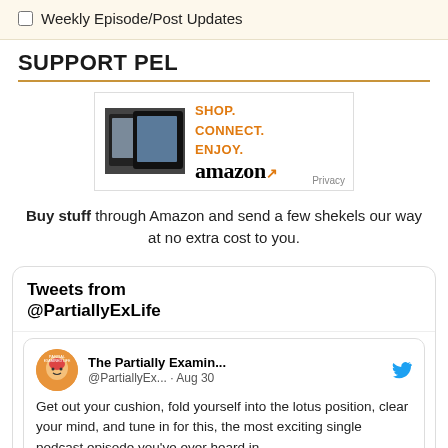☐ Weekly Episode/Post Updates
SUPPORT PEL
[Figure (screenshot): Amazon affiliate ad banner showing Kindle devices with text SHOP. CONNECT. ENJOY. and amazon logo]
Buy stuff through Amazon and send a few shekels our way at no extra cost to you.
Tweets from @PartiallyExLife
The Partially Examin... @PartiallyEx... · Aug 30
Get out your cushion, fold yourself into the lotus position, clear your mind, and tune in for this, the most exciting single podcast episode you've ever heard in